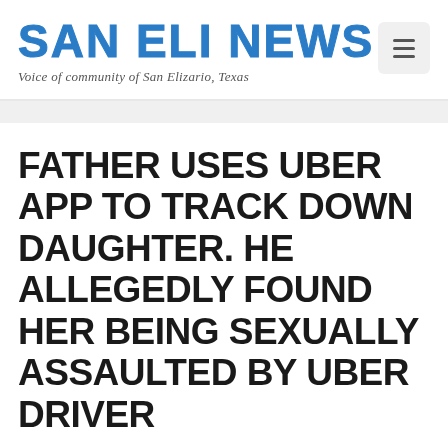SAN ELI NEWS — Voice of community of San Elizario, Texas
FATHER USES UBER APP TO TRACK DOWN DAUGHTER. HE ALLEGEDLY FOUND HER BEING SEXUALLY ASSAULTED BY UBER DRIVER